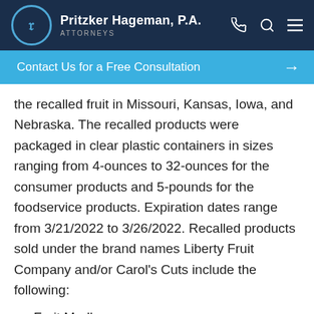Pritzker Hageman, P.A. ATTORNEYS
Contact Us for a Free Consultation →
the recalled fruit in Missouri, Kansas, Iowa, and Nebraska. The recalled products were packaged in clear plastic containers in sizes ranging from 4-ounces to 32-ounces for the consumer products and 5-pounds for the foodservice products. Expiration dates range from 3/21/2022 to 3/26/2022. Recalled products sold under the brand names Liberty Fruit Company and/or Carol's Cuts include the following:
Fruit Medley
Fruit Tray
Fruit Salad